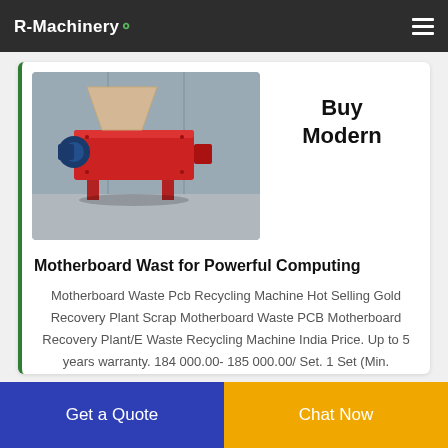R-Machinery
[Figure (photo): Red industrial shredder/recycling machine on a red metal stand with a blue motor, beige hopper on top, photographed in a warehouse setting]
Buy Modern
Motherboard Wast for Powerful Computing
Motherboard Waste Pcb Recycling Machine Hot Selling Gold Recovery Plant Scrap Motherboard Waste PCB Motherboard Recovery Plant/E Waste Recycling Machine India Price. Up to 5 years warranty. 184 000.00- 185 000.00/ Set. 1 Set (Min.
Get a Quote
Chat Now